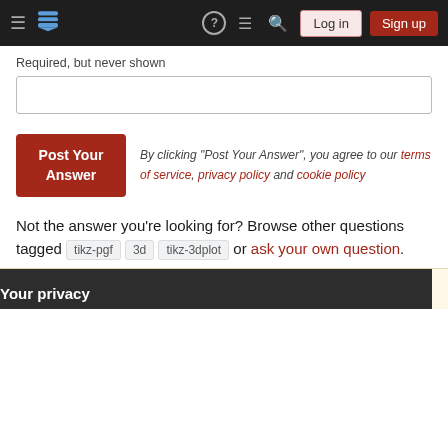Stack Exchange navigation bar with Log in and Sign up buttons
Required, but never shown
Post Your Answer — By clicking "Post Your Answer", you agree to our terms of service, privacy policy and cookie policy
Not the answer you're looking for? Browse other questions tagged tikz-pgf 3d tikz-3dplot or ask your own question.
The Overflow Blog
Your privacy
By clicking "Accept all cookies", you agree Stack Exchange can store cookies on your device and disclose information in accordance with our Cookie Policy.
Accept all cookies   Customize settings
Program